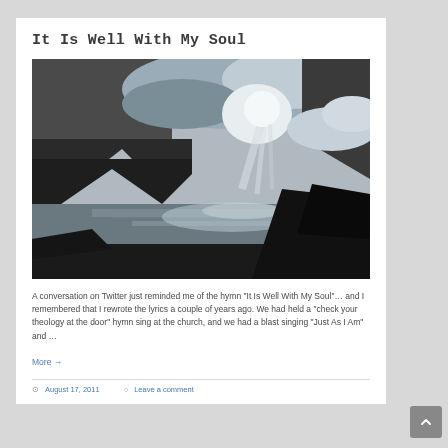It Is Well With My Soul
[Figure (photo): Black and white landscape photograph of a mountain lake or fjord with dramatic sun rays breaking through clouds, mountains in background and trees in foreground]
A conversation on Twitter just reminded me of the hymn "It Is Well With My Soul"… and I remembered that I rewrote the lyrics a couple of years ago. We had held a "check your theology at the door" hymn sing at the church, and we had a blast singing "Just As I Am" and …
More →
August 17, 2011   Leave a comment